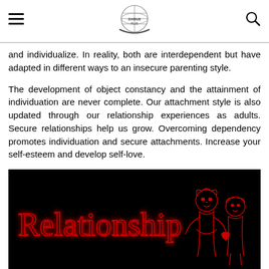[Logo: Darius Plus] [hamburger menu] [search icon]
and individualize. In reality, both are interdependent but have adapted in different ways to an insecure parenting style.
The development of object constancy and the attainment of individuation are never complete. Our attachment style is also updated through our relationship experiences as adults. Secure relationships help us grow. Overcoming dependency promotes individuation and secure attachments. Increase your self-esteem and develop self-love.
[Figure (illustration): Black background image with red neon-style cursive text reading 'Relationship' on the left, and a red outline illustration of two children (a boy and a girl) on the right with a small red heart.]